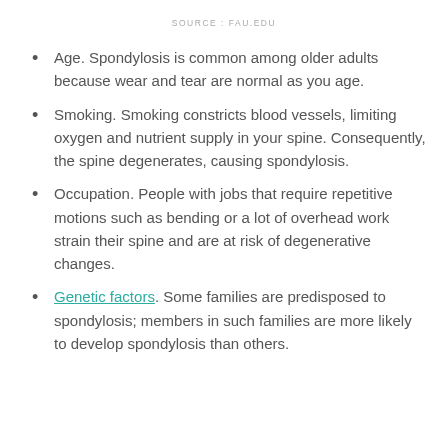SOURCE: FAU.EDU
Age. Spondylosis is common among older adults because wear and tear are normal as you age.
Smoking. Smoking constricts blood vessels, limiting oxygen and nutrient supply in your spine. Consequently, the spine degenerates, causing spondylosis.
Occupation. People with jobs that require repetitive motions such as bending or a lot of overhead work strain their spine and are at risk of degenerative changes.
Genetic factors. Some families are predisposed to spondylosis; members in such families are more likely to develop spondylosis than others.